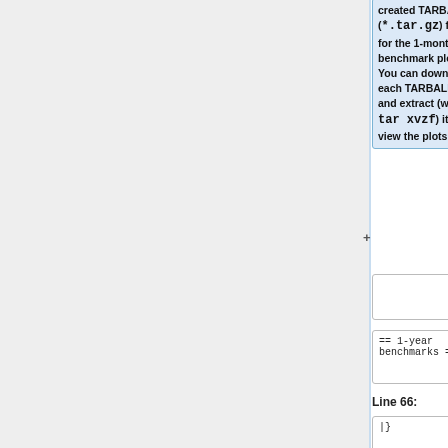created TARBALL (<tt>*.tar.gz</tt>) files for the 1-month benchmark plots.  You can download each TARBALL file and extract (with <tt>tar xvzf</tt>) it to view the plots."""
== 1-year benchmarks ==
== 1-year benchmarks ==
Line 66:
Line 68:
|}
|}